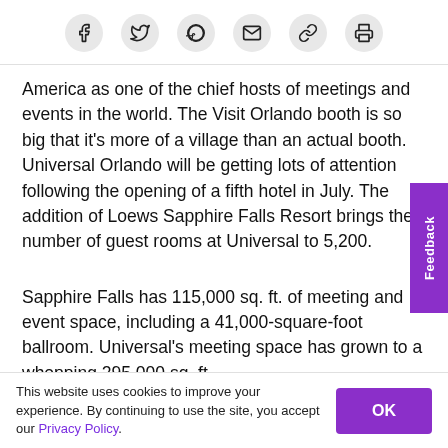[Social share icons: Facebook, Twitter, Pinterest, Email, Link, Print]
America as one of the chief hosts of meetings and events in the world. The Visit Orlando booth is so big that it's more of a village than an actual booth. Universal Orlando will be getting lots of attention following the opening of a fifth hotel in July. The addition of Loews Sapphire Falls Resort brings the number of guest rooms at Universal to 5,200.
Sapphire Falls has 115,000 sq. ft. of meeting and event space, including a 41,000-square-foot ballroom. Universal's meeting space has grown to a whopping 295,000 sq. ft.
This website uses cookies to improve your experience. By continuing to use the site, you accept our Privacy Policy.